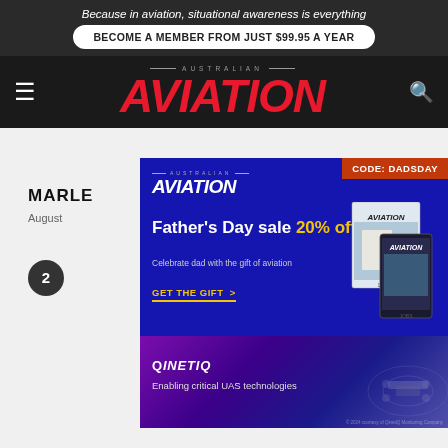Because in aviation, situational awareness is everything
BECOME A MEMBER FROM JUST $99.95 A YEAR
AUSTRALIAN AVIATION
[Figure (infographic): Australian Aviation Father's Day sale advertisement. Blue background with CODE: DADSDAY in red top right. Australian Aviation logo, text 'Father's Day sale 20% off!', 'Celebrate dad with the gift of aviation', CTA 'GET THE GIFT >' in gold, magazine cover images on right.]
[Figure (infographic): QinetiQ advertisement with purple gradient background showing drone/UAS technologies imagery. Text reads 'QINETIQ - Enabling critical UAS technologies'.]
MARLE
August
2